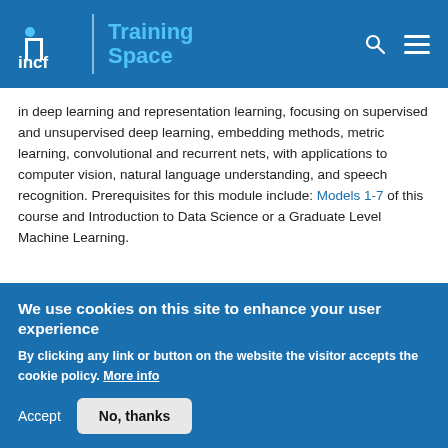incf | Training Space
in deep learning and representation learning, focusing on supervised and unsupervised deep learning, embedding methods, metric learning, convolutional and recurrent nets, with applications to computer vision, natural language understanding, and speech recognition. Prerequisites for this module include: Models 1-7 of this course and Introduction to Data Science or a Graduate Level Machine Learning.
Difficulty level:   Advanced
Duration: 1:22:25
We use cookies on this site to enhance your user experience
By clicking any link or button on the website the visitor accepts the cookie policy. More info
Accept   No, thanks